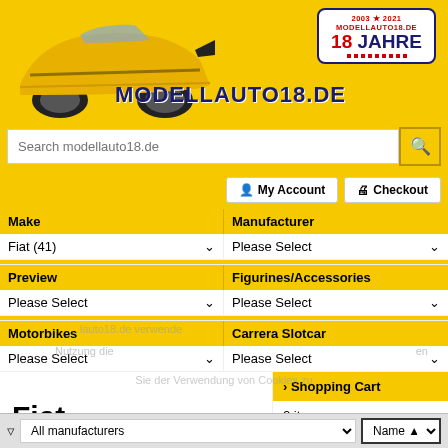[Figure (screenshot): Modellauto18.de website header with yellow Bugatti car image and logo]
MODELLAUTO18.DE
Search modellauto18.de
My Account
Checkout
Make
Manufacturer
Fiat (41)
Please Select
Preview
Figurines/Accessories
Please Select
Please Select
Motorbikes
Carrera Slotcar
Please Select
Please Select
Fiat
> Shopping Cart
0 items
Verstanden
All manufacturers
Name ▲
> Wishlist